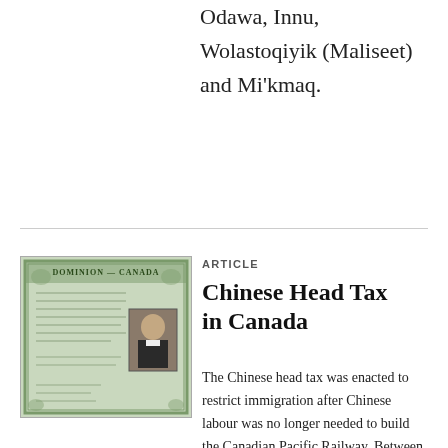Odawa, Innu, Wolastoqiyik (Maliseet) and Mi'kmaq.
[Figure (photo): A green Dominion of Canada Chinese head tax certificate with handwritten text and a small portrait photograph of a Chinese man in formal attire.]
ARTICLE
Chinese Head Tax in Canada
The Chinese head tax was enacted to restrict immigration after Chinese labour was no longer needed to build the Canadian Pacific Railway. Between 1885 and